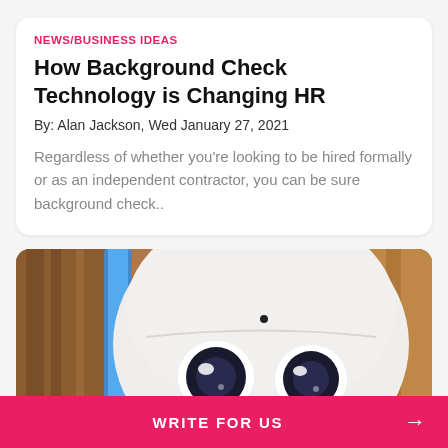NEWS/BUSINESS IDEAS
How Background Check Technology is Changing HR
By: Alan Jackson, Wed January 27, 2021
Regardless of whether you're looking to be hired formally or as an independent contractor, you can be sure background check..
[Figure (photo): Close-up photo of a white humanoid robot face with large circular eyes, set against a warm wooden background with a blue accent element visible on the left side.]
WRITE FOR US →